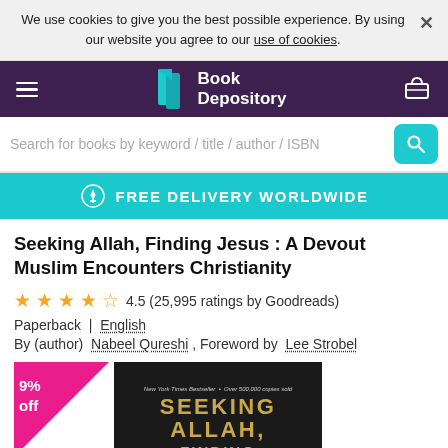We use cookies to give you the best possible experience. By using our website you agree to our use of cookies.
[Figure (logo): Book Depository logo with teal book icon and white text on purple navbar]
Search for books by keyword / title / author / ISBN
FREE DELIVERY WORLDWIDE
Seeking Allah, Finding Jesus : A Devout Muslim Encounters Christianity
4.5 (25,995 ratings by Goodreads)
Paperback  |  English
By (author)  Nabeel Qureshi , Foreword by  Lee Strobel
[Figure (photo): Book cover of Seeking Allah, Finding Jesus showing dark background with title in gold letters, with 9% off badge in pink triangle]